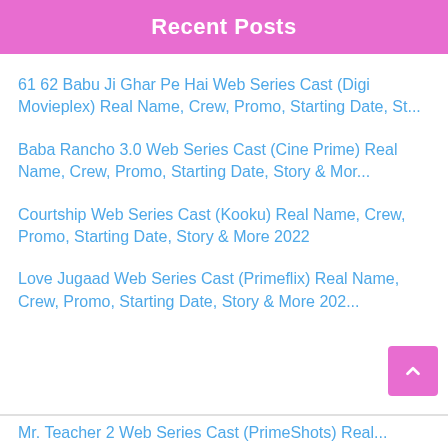Recent Posts
61 62 Babu Ji Ghar Pe Hai Web Series Cast (Digi Movieplex) Real Name, Crew, Promo, Starting Date, St...
Baba Rancho 3.0 Web Series Cast (Cine Prime) Real Name, Crew, Promo, Starting Date, Story & Mor...
Courtship Web Series Cast (Kooku) Real Name, Crew, Promo, Starting Date, Story & More 2022
Love Jugaad Web Series Cast (Primeflix) Real Name, Crew, Promo, Starting Date, Story & More 202...
Mr. Teacher 2 Web Series Cast (PrimeShots) Real...